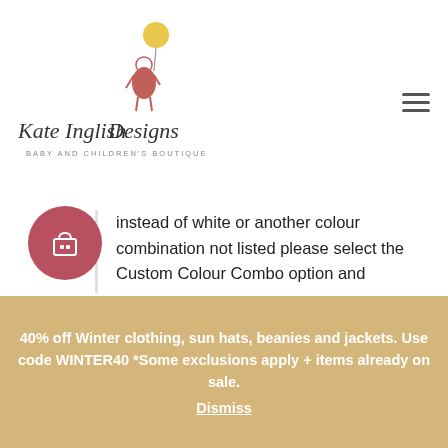Kate Inglish Designs – Baby and Children's Boutique
instead of white or another colour combination not listed please select the Custom Colour Combo option and include a note for the colours
Play Bar Measurements
Height – 45
40% off Winter clothing, sun hats, beanies and jackets. Use code WINTER40 *Some exclusions apply + items already on sale. Dismiss